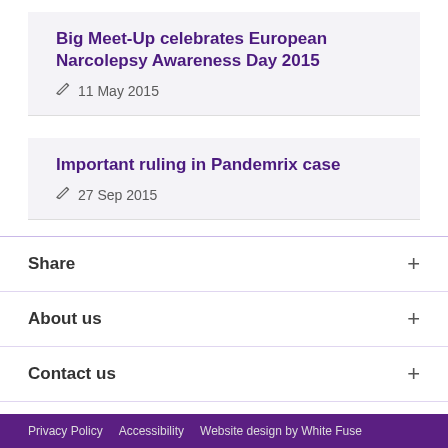Big Meet-Up celebrates European Narcolepsy Awareness Day 2015
11 May 2015
Important ruling in Pandemrix case
27 Sep 2015
Share
About us
Contact us
Quick links
Privacy Policy   Accessibility   Website design by White Fuse